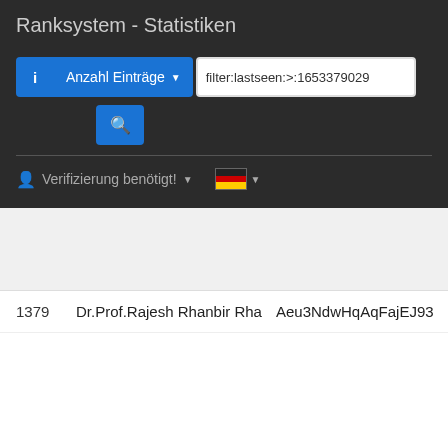Ranksystem - Statistiken
Anzahl Einträge
filter:lastseen:>:1653379029
Verifizierung benötigt!
1379   Dr.Prof.Rajesh Rhanbir Rha   Aeu3NdwHqAqFajEJ93